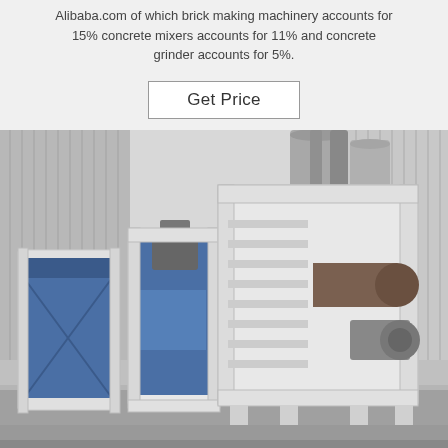Alibaba.com of which brick making machinery accounts for 15% concrete mixers accounts for 11% and concrete grinder accounts for 5%.
[Figure (other): Button labeled 'Get Price' with a rectangular border on a light gray background]
[Figure (photo): Industrial brick making machinery in a factory setting. Large white metal frame structure with blue hydraulic press components, cylinders, and conveyor mechanisms on a concrete floor with corrugated metal walls and large silos in the background.]